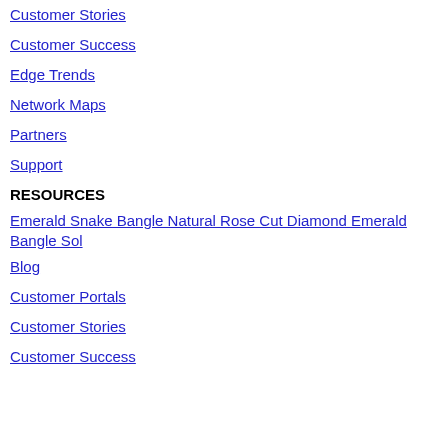Customer Stories
Customer Success
Edge Trends
Network Maps
Partners
Support
RESOURCES
Emerald Snake Bangle Natural Rose Cut Diamond Emerald Bangle Sol
Blog
Customer Portals
Customer Stories
Customer Success